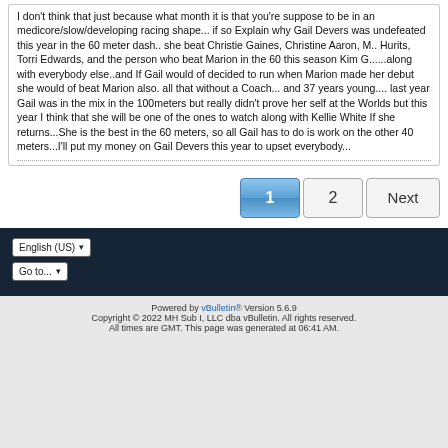I don't think that just because what month it is that you're suppose to be in an medicore/slow/developing racing shape... if so Explain why Gail Devers was undefeated this year in the 60 meter dash.. she beat Christie Gaines, Christine Aaron, M.. Hurits, Torri Edwards, and the person who beat Marion in the 60 this season Kim G......along with everybody else..and If Gail would of decided to run when Marion made her debut she would of beat Marion also. all that without a Coach... and 37 years young.... last year Gail was in the mix in the 100meters but really didn't prove her self at the Worlds but this year I think that she will be one of the ones to watch along with Kellie White If she returns...She is the best in the 60 meters, so all Gail has to do is work on the other 40 meters...I'll put my money on Gail Devers this year to upset everybody...
[Figure (other): Pagination buttons: 1 (active/highlighted), 2, Next]
English (US) dropdown, Go to... dropdown. Powered by vBulletin® Version 5.6.9. Copyright © 2022 MH Sub I, LLC dba vBulletin. All rights reserved. All times are GMT. This page was generated at 06:41 AM.